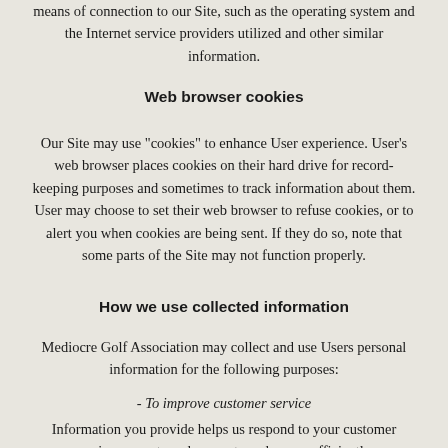means of connection to our Site, such as the operating system and the Internet service providers utilized and other similar information.
Web browser cookies
Our Site may use "cookies" to enhance User experience. User's web browser places cookies on their hard drive for record-keeping purposes and sometimes to track information about them. User may choose to set their web browser to refuse cookies, or to alert you when cookies are being sent. If they do so, note that some parts of the Site may not function properly.
How we use collected information
Mediocre Golf Association may collect and use Users personal information for the following purposes:
- To improve customer service
Information you provide helps us respond to your customer service requests and support needs more efficiently.